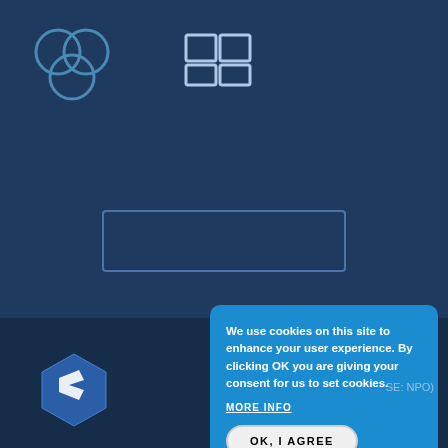[Figure (logo): Three circles arranged in a triangle pattern, outline style, in teal/blue color - top left of page]
[Figure (logo): Four square boxes arranged in a 2x2 grid, outline style, white/light color - top center of page]
[Figure (screenshot): Search input box with rounded rectangle border in center of dark blue background]
We use cookies on this site to enhance your user experience. By clicking OK you are giving your consent for us to set cookies.
MORE INFO
OK, I AGREE
DECLINE
[Figure (logo): ENPRO company logo - hexagonal shape with stylized E, white on dark background, with ENPRO text below]
SE: NPO)